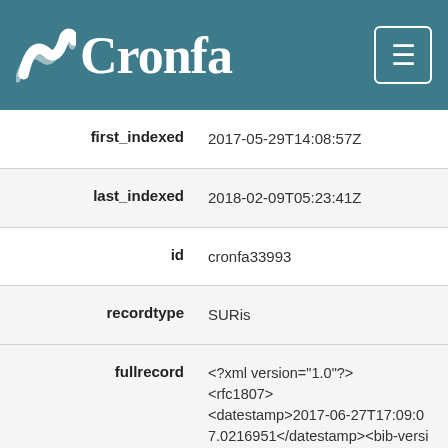Cronfa
| field | value |
| --- | --- |
| first_indexed | 2017-05-29T14:08:57Z |
| last_indexed | 2018-02-09T05:23:41Z |
| id | cronfa33993 |
| recordtype | SURis |
| fullrecord | <?xml version="1.0"?><rfc1807><datestamp>2017-06-27T17:09:07.0216951</datestamp><bib-version>v2</bib-version><id>33993</id><entry>2017-05-29</entry><title>Global, regional, and national incidence, prevalence, and years lived with disability for 310 di... |